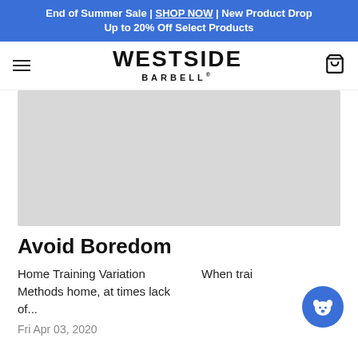End of Summer Sale | SHOP NOW | New Product Drop Up to 20% Off Select Products
[Figure (logo): Westside Barbell logo with hamburger menu and cart icon in navigation bar]
[Figure (photo): Large gray placeholder hero image for article]
Avoid Boredom
Home Training Variation Methods home, at times lack of...
When trai
Fri Apr 03, 2020